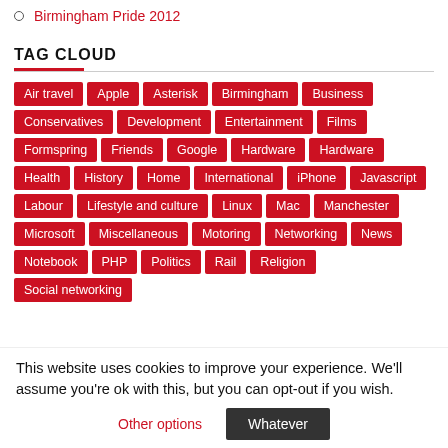Birmingham Pride 2012
TAG CLOUD
Air travel Apple Asterisk Birmingham Business Conservatives Development Entertainment Films Formspring Friends Google Hardware Hardware Health History Home International iPhone Javascript Labour Lifestyle and culture Linux Mac Manchester Microsoft Miscellaneous Motoring Networking News Notebook PHP Politics Rail Religion Social networking
This website uses cookies to improve your experience. We'll assume you're ok with this, but you can opt-out if you wish.
Other options | Whatever